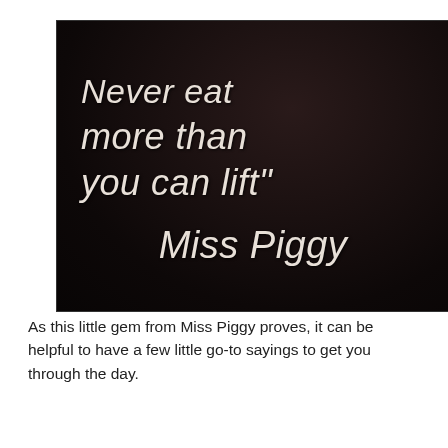[Figure (photo): Dark background photograph of handwritten text reading: 'Never eat more than you can lift" Miss Piggy']
As this little gem from Miss Piggy proves, it can be helpful to have a few little go-to sayings to get you through the day.